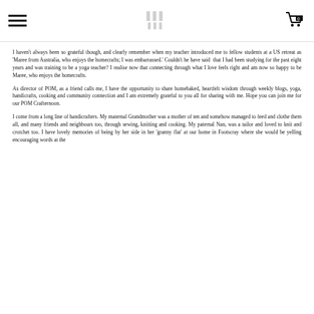[hamburger menu] [POM logo] [cart icon 0]
I haven't always been so grateful though, and clearly remember when my teacher introduced me to fellow students at a US retreat as 'Maree from Australia, who enjoys the homecrafts; I was embarrassed.' Couldn't he have said that I had been studying for the past eight years and was training to be a yoga teacher? I realise now that connecting through what I love feels right and am now so happy to be Maree, who enjoys the homecrafts.
As director of POM, as a friend calls me, I have the opportunity to share homebaked, heartfelt wisdom through weekly blogs, yoga, handicrafts, cooking and community connection and I am extremely grateful to you all for sharing with me. Hope you can join me for our POM Crafternoon.
I come from a long line of handicrafters. My maternal Grandmother was a mother of ten and somehow managed to feed and clothe them all, and many friends and neighbours too, through sewing, knitting and cooking. My paternal Nan, was a tailor and loved to knit and crotchet too. I have lovely memories of being by her side in her 'granny flat' at our home in Footscray where she would be yelling encouraging words at the